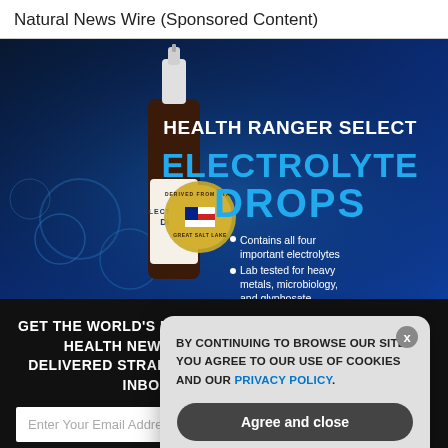Natural News Wire (Sponsored Content)
[Figure (photo): Product advertisement for Health Ranger Select Electrolyte Drops. Dark blue background with water splash imagery. Shows a dark glass dropper bottle labeled 'Electrolyte Drops'. Text reads 'HEALTH RANGER SELECT ELECTROLYTE DROPS'. Bullet points: 'Contains all four important electrolytes', 'Lab tested for heavy metals, microbiology, and glyphosate'. Badge reading 'DERIVED FROM UTAH GREAT SALT LAKE' with American flag.]
GET THE WORLD'S BEST NATURAL HEALTH NEWSLETTER DELIVERED STRAIGHT TO YOUR INBOX
Enter Your Email Address
SUBSCRIBE
BY CONTINUING TO BROWSE OUR SITE YOU AGREE TO OUR USE OF COOKIES AND OUR PRIVACY POLICY.
Agree and close